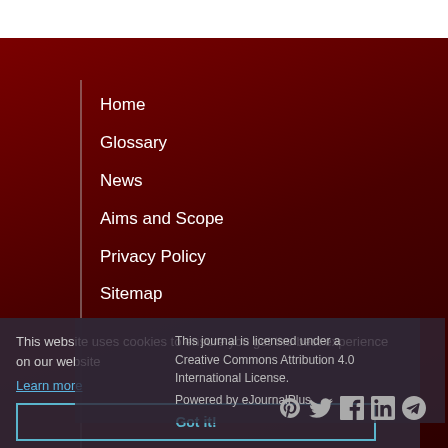Home
Glossary
News
Aims and Scope
Privacy Policy
Sitemap
This journal is licensed under a Creative Commons Attribution 4.0 International License.
This website uses cookies to ensure you get the best experience on our website
Learn more
Powered by eJournalPlus
Got it!